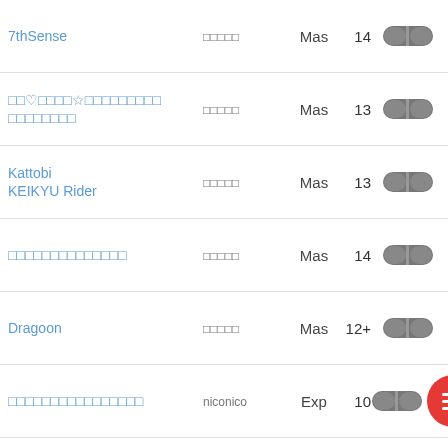| Title | Artist | Difficulty | Level | Icon |
| --- | --- | --- | --- | --- |
| 7thSense | □□□□□ | Mas | 14 | pill |
| □□♡□□□□☆□□□□□□□□□ □□□□□□□□ | □□□□□ | Mas | 13 | pill |
| Kattobi KEIKYU Rider | □□□□□ | Mas | 13 | pill |
| □□□□□□□□□□□□□□ | □□□□□ | Mas | 14 | pill |
| Dragoon | □□□□□ | Mas | 12+ | pill |
| □□□□□□□□□□□□□□□□ | niconico | Exp | 10 | pill+menu |
| Bad Apple!! | □□Project | Exp | 8 | pill |